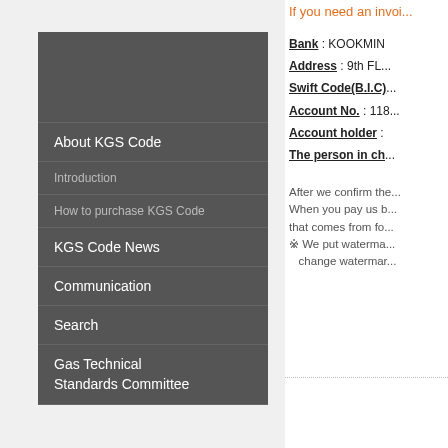About KGS Code
Introduction
How to purchase KGS Code
KGS Code News
Communication
Search
Gas Technical Standards Committee
If you need an invoi...
Bank : KOOKMIN
Address : 9th FL...
Swift Code(B.I.C)...
Account No. : 118...
Account holder :
The person in ch...
After we confirm the... When you pay us b... that comes from fo... ※ We put waterma... change watermar...